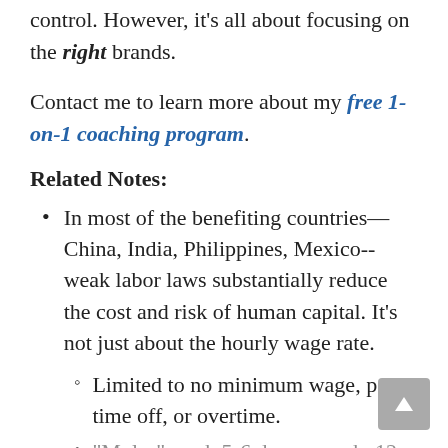control. However, it's all about focusing on the right brands.
Contact me to learn more about my free 1-on-1 coaching program.
Related Notes:
In most of the benefiting countries—China, India, Philippines, Mexico--weak labor laws substantially reduce the cost and risk of human capital. It's not just about the hourly wage rate.
Limited to no minimum wage, paid time off, or overtime.
"Mules" work 5-6 days a week, 12...